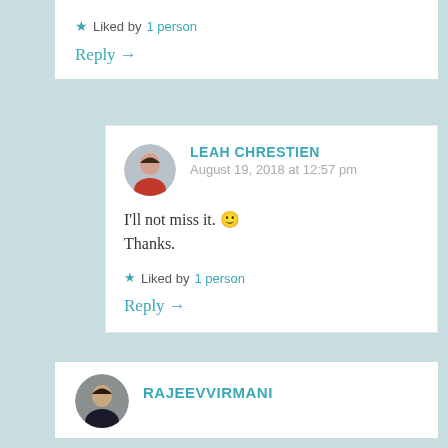★ Liked by 1 person
Reply →
LEAH CHRESTIEN
August 19, 2018 at 12:57 pm
I'll not miss it. 🙂
Thanks.
★ Liked by 1 person
Reply →
RAJEEVVIRMANI